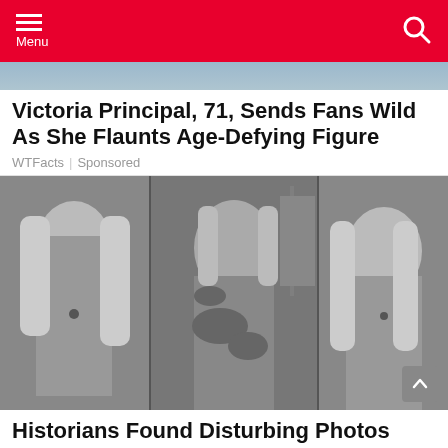Menu
[Figure (photo): Partial view of a person at top of screen behind red navigation bar]
Victoria Principal, 71, Sends Fans Wild As She Flaunts Age-Defying Figure
WTFacts | Sponsored
[Figure (photo): Black and white photo collage of three people at what appears to be a festival. Left: young woman with long blonde hair wearing a mesh top and pendant necklace. Center: shirtless man with long hair covered in mud or paint. Right: young woman with long blonde hair in dirty clothes.]
Historians Found Disturbing Photos During